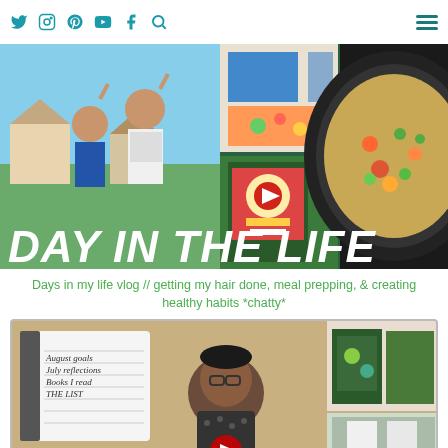Social media navigation header with Twitter, Instagram, Pinterest, YouTube, Facebook, Search icons and hamburger menu
[Figure (photo): Day in the Life vlog thumbnail showing two women posing with peace signs outdoors, collage of food prep (fried rice in pan), a book, and colorful fabric. Large bold white text overlay reads DAY IN THE LIFE]
Days in my life vlog // getting my hair done, meal prepping, & creating healthy habits *chatty*
[Figure (screenshot): Video thumbnail showing a woman with glasses speaking to camera, with a notebook showing August goals, July reflections, Books I read, THE LIST, and shelf items visible in background. YouTube play button visible.]